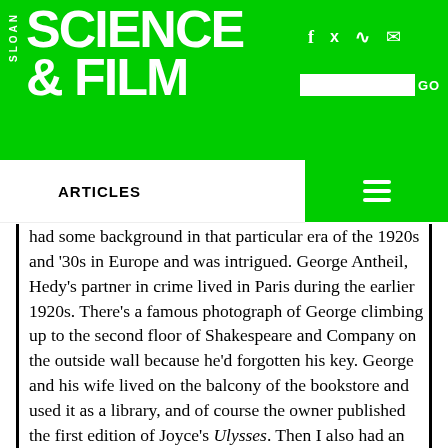SLOAN SCIENCE & FILM
ARTICLES
had some background in that particular era of the 1920s and '30s in Europe and was intrigued. George Antheil, Hedy's partner in crime lived in Paris during the earlier 1920s. There's a famous photograph of George climbing up to the second floor of Shakespeare and Company on the outside wall because he'd forgotten his key. George and his wife lived on the balcony of the bookstore and used it as a library, and of course the owner published the first edition of Joyce's Ulysses. Then I also had an longstanding interest in technology. So all of that came